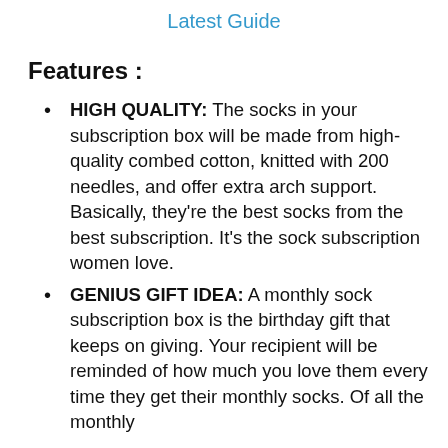Latest Guide
Features :
HIGH QUALITY: The socks in your subscription box will be made from high-quality combed cotton, knitted with 200 needles, and offer extra arch support. Basically, they’re the best socks from the best subscription. It’s the sock subscription women love.
GENIUS GIFT IDEA: A monthly sock subscription box is the birthday gift that keeps on giving. Your recipient will be reminded of how much you love them every time they get their monthly socks. Of all the monthly